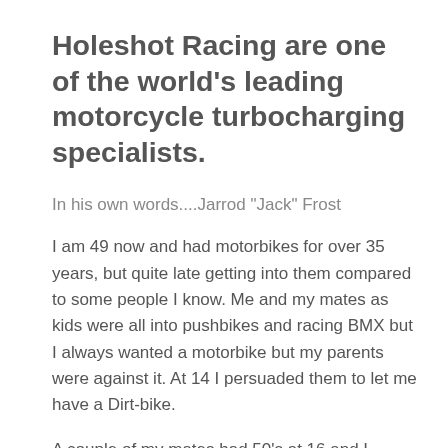Holeshot Racing are one of the world's leading motorcycle turbocharging specialists.
In his own words....Jarrod "Jack" Frost
I am 49 now and had motorbikes for over 35 years, but quite late getting into them compared to some people I know. Me and my mates as kids were all into pushbikes and racing BMX but I always wanted a motorbike but my parents were against it. At 14 I persuaded them to let me have a Dirt-bike.
A couple of my mates had 50's at 16 and I wanted one so I sold my Dirt-bike and bought a FS1E. The problem is a small bike makes you just want to go